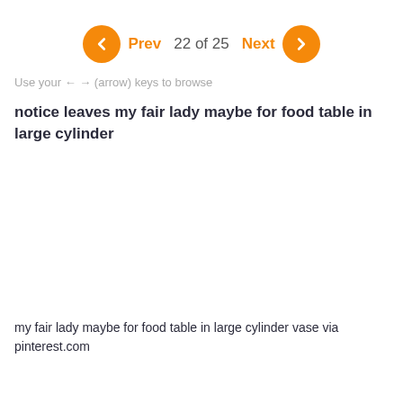Prev  22 of 25  Next
Use your ← → (arrow) keys to browse
notice leaves my fair lady maybe for food table in large cylinder
my fair lady maybe for food table in large cylinder vase via pinterest.com